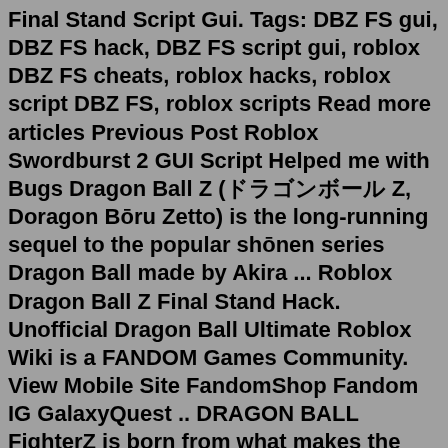Final Stand Script Gui. Tags: DBZ FS gui, DBZ FS hack, DBZ FS script gui, roblox DBZ FS cheats, roblox hacks, roblox script DBZ FS, roblox scripts Read more articles Previous Post Roblox Swordburst 2 GUI Script Helped me with Bugs Dragon Ball Z (ドラゴンボール Z, Doragon Bōru Zetto) is the long-running sequel to the popular shōnen series Dragon Ball made by Akira ... Roblox Dragon Ball Z Final Stand Hack. Unofficial Dragon Ball Ultimate Roblox Wiki is a FANDOM Games Community. View Mobile Site FandomShop Fandom IG GalaxyQuest .. DRAGON BALL FighterZ is born from what makes the DRAGON BALL series so loved and famous: endless spectacular fights with its all-powerful fighters. Killing mobs, gathering resources, leveling up and unlocking new lands/islands as you progress. The GUI design will probably be recycled, however I am planning on a reskin to make it more stylised. ... Gum Simulator • Build A Boat For Treasure • Crown Academy • Dinosaur Simulator • Dragon Ball Online Generations • Dragon Ball Z Final Dragon Ball